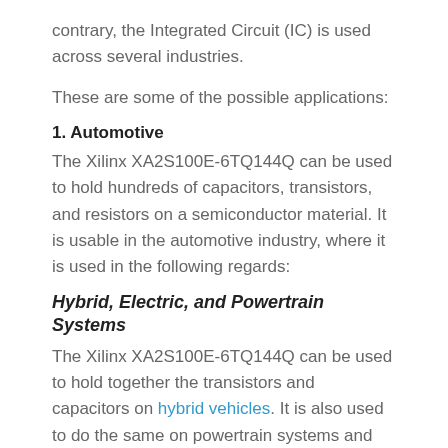contrary, the Integrated Circuit (IC) is used across several industries.
These are some of the possible applications:
1. Automotive
The Xilinx XA2S100E-6TQ144Q can be used to hold hundreds of capacitors, transistors, and resistors on a semiconductor material. It is usable in the automotive industry, where it is used in the following regards:
Hybrid, Electric, and Powertrain Systems
The Xilinx XA2S100E-6TQ144Q can be used to hold together the transistors and capacitors on hybrid vehicles. It is also used to do the same on powertrain systems and electric